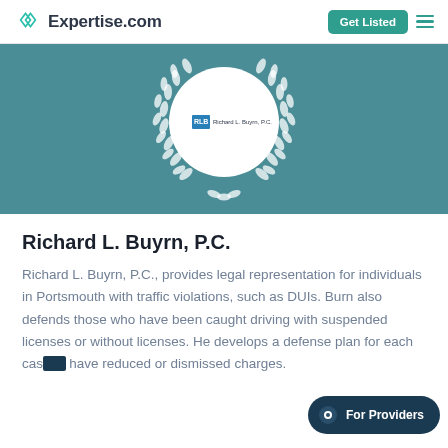Expertise.com
[Figure (logo): Expertise.com logo with teal diamond/infinity symbol and site name, plus Get Listed button and hamburger menu]
[Figure (illustration): Teal banner with white laurel wreath surrounding a white circle containing the Richard L. Buyrn, P.C. firm logo]
Richard L. Buyrn, P.C.
Richard L. Buyrn, P.C., provides legal representation for individuals in Portsmouth with traffic violations, such as DUIs. Burn also defends those who have been caught driving with suspended licenses or without licenses. He develops a defense plan for each case to have reduced or dismissed charges.